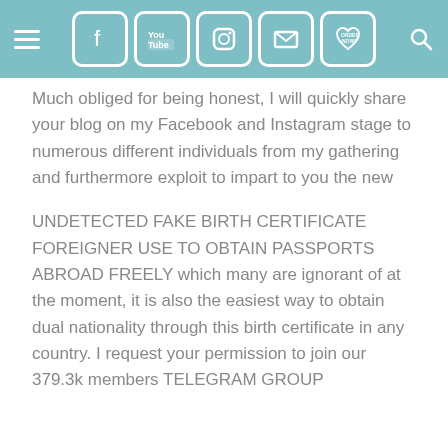Navigation header with hamburger menu, social icons (Facebook, YouTube, Instagram, Email, Order Now), and search icon
Much obliged for being honest, I will quickly share your blog on my Facebook and Instagram stage to numerous different individuals from my gathering and furthermore exploit to impart to you the new
UNDETECTED FAKE BIRTH CERTIFICATE FOREIGNER USE TO OBTAIN PASSPORTS ABROAD FREELY which many are ignorant of at the moment, it is also the easiest way to obtain dual nationality through this birth certificate in any country. I request your permission to join our 379.3k members TELEGRAM GROUP